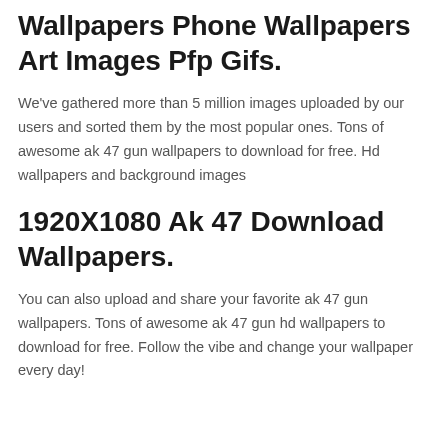Wallpapers Phone Wallpapers Art Images Pfp Gifs.
We've gathered more than 5 million images uploaded by our users and sorted them by the most popular ones. Tons of awesome ak 47 gun wallpapers to download for free. Hd wallpapers and background images
1920X1080 Ak 47 Download Wallpapers.
You can also upload and share your favorite ak 47 gun wallpapers. Tons of awesome ak 47 gun hd wallpapers to download for free. Follow the vibe and change your wallpaper every day!